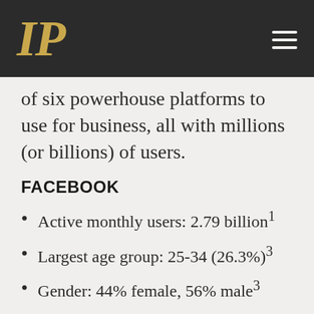IP
of six powerhouse platforms to use for business, all with millions (or billions) of users.
FACEBOOK
Active monthly users: 2.79 billion¹
Largest age group: 25-34 (26.3%)³
Gender: 44% female, 56% male³